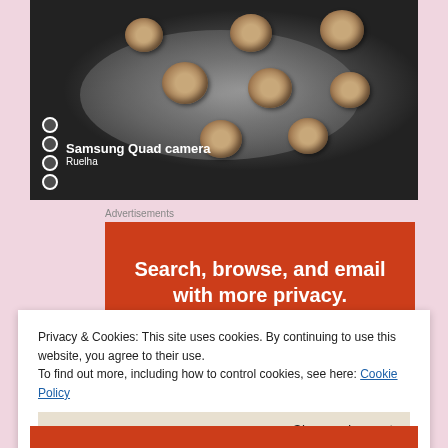[Figure (photo): Photo of dumplings or meatballs on a metallic/silver plate against a dark background, with Samsung Quad camera watermark and username 'Ruelha']
Advertisements
[Figure (screenshot): Red advertisement banner with white bold text reading 'Search, browse, and email with more privacy.']
Privacy & Cookies: This site uses cookies. By continuing to use this website, you agree to their use.
To find out more, including how to control cookies, see here: Cookie Policy
Close and accept